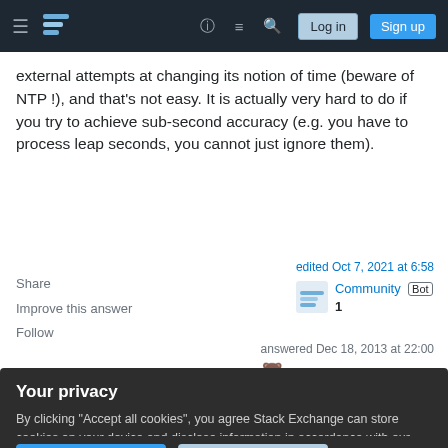Stack Exchange navigation bar with Log in and Sign up buttons
external attempts at changing its notion of time (beware of NTP !), and that's not easy. It is actually very hard to do if you try to achieve sub-second accuracy (e.g. you have to process leap seconds, you cannot just ignore them).
Share
Improve this answer
Follow
edited Oct 7, 2021 at 6:58
Community Bot
1
answered Dec 18, 2013 at 22:00
Tom Leek
Your privacy
By clicking "Accept all cookies", you agree Stack Exchange can store cookies on your device and disclose information in accordance with our Cookie Policy.
Accept all cookies
Customize settings